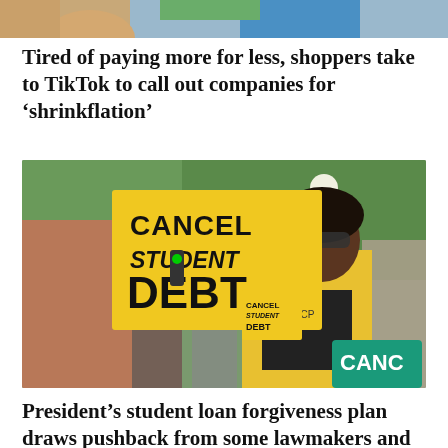[Figure (photo): Top portion of a cropped photo showing people, partially visible at the top of the page]
Tired of paying more for less, shoppers take to TikTok to call out companies for ‘shrinkflation’
[Figure (photo): Protest photo showing a woman in a yellow jacket holding a yellow sign reading CANCEL STUDENT DEBT (NAACP), with a crowd of protesters behind her on a city street with trees]
President’s student loan forgiveness plan draws pushback from some lawmakers and consumer groups